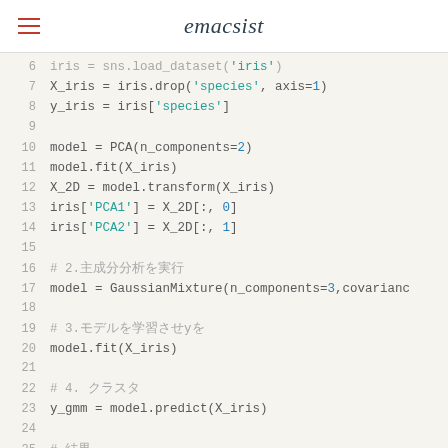emacsist
Code block showing Python code lines 6-26 working with PCA and GaussianMixture on iris dataset